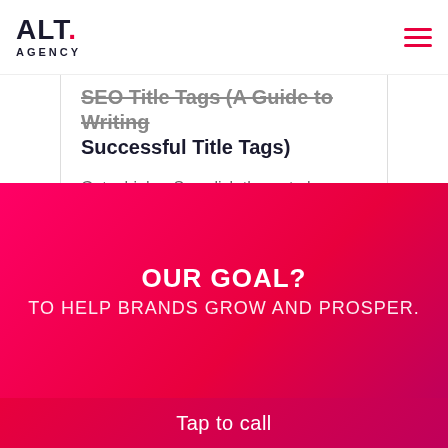ALT. AGENCY
SEO Title Tags (A Guide to Writing Successful Title Tags)
Get a higher Seo click-thru rate by writing incredible SEO title tags. This guide details step by step how to write title tags that get
0  Read More
OUR GOAL? TO HELP BRANDS GROW AND PROSPER.
Tap to call